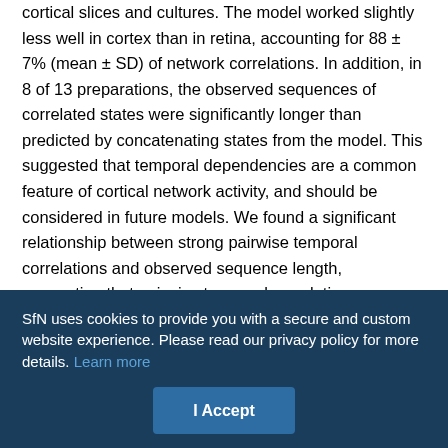cortical slices and cultures. The model worked slightly less well in cortex than in retina, accounting for 88 ± 7% (mean ± SD) of network correlations. In addition, in 8 of 13 preparations, the observed sequences of correlated states were significantly longer than predicted by concatenating states from the model. This suggested that temporal dependencies are a common feature of cortical network activity, and should be considered in future models. We found a significant relationship between strong pairwise temporal correlations and observed sequence length, suggesting that pairwise temporal correlations may allow the model to be extended into the temporal domain. We conclude that although a second-order maximum entropy model successfully predicts correlated states in cortical networks, it should be extended to account for temporal
SfN uses cookies to provide you with a secure and custom website experience. Please read our privacy policy for more details. Learn more